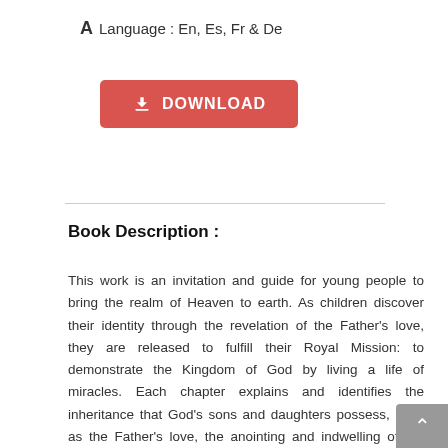A Language : En, Es, Fr & De
[Figure (other): Red download button with download icon and text DOWNLOAD]
Book Description :
This work is an invitation and guide for young people to bring the realm of Heaven to earth. As children discover their identity through the revelation of the Father's love, they are released to fulfill their Royal Mission: to demonstrate the Kingdom of God by living a life of miracles. Each chapter explains and identifies the inheritance that God's sons and daughters possess, such as the Father's love, the anointing and indwelling of the Holy Spirit, faith, prayer, and the keys of power and authority. This book is not only a companion for the "journey", but also provides a meeting place for children to encounter God's presence that will transform their